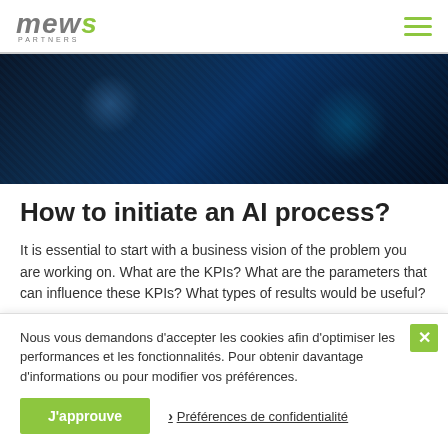mews PARTNERS
[Figure (photo): Dark blue tech background with glowing blue light patterns, resembling circuit boards or data streams]
How to initiate an AI process?
It is essential to start with a business vision of the problem you are working on. What are the KPIs? What are the parameters that can influence these KPIs? What types of results would be useful?
Nous vous demandons d'accepter les cookies afin d'optimiser les performances et les fonctionnalités. Pour obtenir davantage d'informations ou pour modifier vos préférences.
J'approuve
Préférences de confidentialité